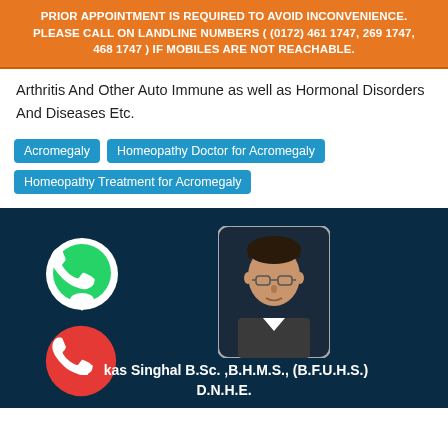PRIOR APPOINTMENT IS REQUIRED TO AVOID INCONVENIENCE. PLEASE CALL ON LANDLINE NUMBERS ( (0172) 461 1747, 269 1747, 468 1747 ) IF MOBILES ARE NOT REACHABLE.
Arthritis And Other Auto Immune as well as Hormonal Disorders And Diseases Etc.
Acromegaly
Homeopathy Doctor for Acromegaly
Homeopathy Treatment for Acromegaly
[Figure (photo): Profile card with dark navy background showing WhatsApp icon (green), call icon (red), doctor's photo portrait with glasses and blazer, and name text: Lukas Singhal B.Sc. ,B.H.M.S., (B.F.U.H.S.) D.N.H.E.]